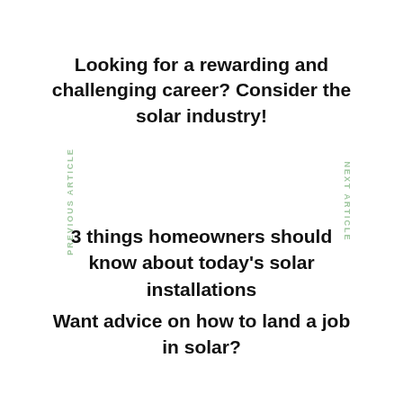Looking for a rewarding and challenging career? Consider the solar industry!
3 things homeowners should know about today's solar installations
PREVIOUS ARTICLE
NEXT ARTICLE
Want advice on how to land a job in solar?